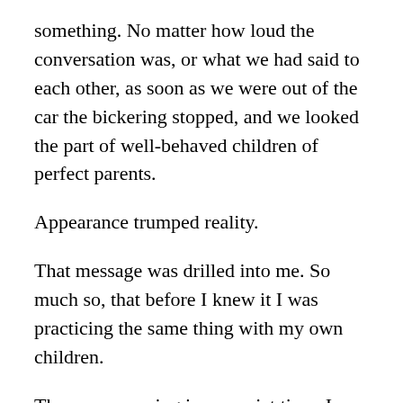something. No matter how loud the conversation was, or what we had said to each other, as soon as we were out of the car the bickering stopped, and we looked the part of well-behaved children of perfect parents.
Appearance trumped reality.
That message was drilled into me. So much so, that before I knew it I was practicing the same thing with my own children.
Then one morning in my quiet time, I reflected deeply on today’s text. The conviction went just as deep and changed me forever. I also found a book that cemented the need for